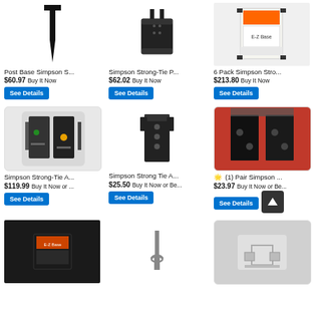[Figure (photo): Post Base Simpson Strong-Tie spike product photo]
Post Base Simpson S...
$60.97 Buy It Now
See Details
[Figure (photo): Simpson Strong-Tie P... post cap bracket photo]
Simpson Strong-Tie P...
$62.02 Buy It Now
See Details
[Figure (photo): 6 Pack Simpson Strong-Tie E-Z Base packaged product photo]
6 Pack Simpson Stro...
$213.80 Buy It Now
See Details
[Figure (photo): Simpson Strong-Tie A... display rack with multiple products]
Simpson Strong-Tie A...
$119.99 Buy It Now or ...
See Details
[Figure (photo): Simpson Strong Tie A... angle bracket with holes photo]
Simpson Strong Tie A...
$25.50 Buy It Now or Be...
See Details
[Figure (photo): (1) Pair Simpson flat black plates on red background]
(1) Pair Simpson ...
$23.97 Buy It Now or Be...
See Details
[Figure (photo): Simpson Strong-Tie E-Z Base box product bottom row]
[Figure (photo): Metal anchor spike product bottom row center]
[Figure (photo): Metal post base bracket bottom row right]